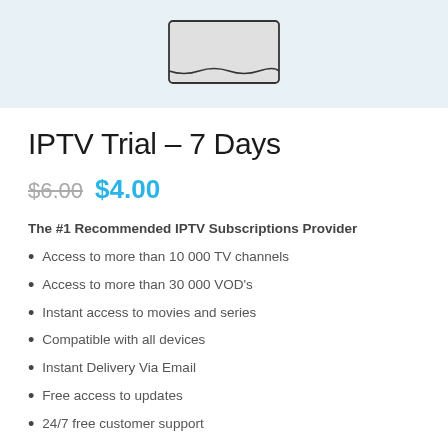[Figure (illustration): Sketch illustration of a TV/screen on a light blue background]
IPTV Trial – 7 Days
$6.00 $4.00
The #1 Recommended IPTV Subscriptions Provider
Access to more than 10 000 TV channels
Access to more than 30 000 VOD's
Instant access to movies and series
Compatible with all devices
Instant Delivery Via Email
Free access to updates
24/7 free customer support